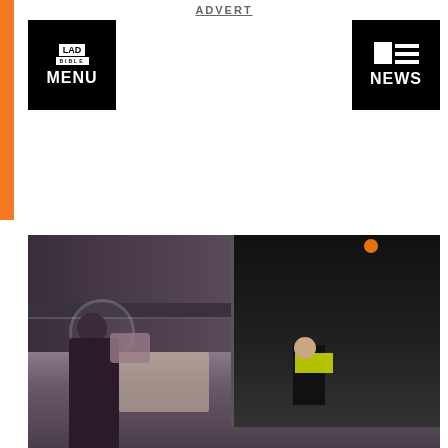ADVERT
[Figure (logo): LAD Bible MENU button - black square with LAD BIBLE logo and MENU text]
[Figure (logo): NEWS button - black square with grid/lines icon and NEWS text]
[Figure (photo): Blurry outdoor scene showing a person in high-visibility vest near a dark vehicle, with another person in the foreground]